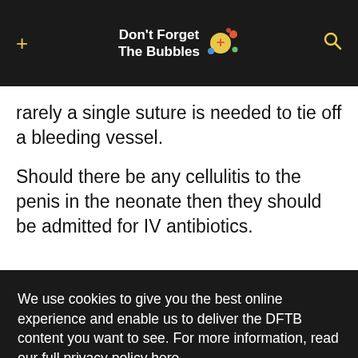Don't Forget The Bubbles
rarely a single suture is needed to tie off a bleeding vessel.
Should there be any cellulitis to the penis in the neonate then they should be admitted for IV antibiotics.
We use cookies to give you the best online experience and enable us to deliver the DFTB content you want to see. For more information, read our full privacy policy here.
Accept All
Dismiss